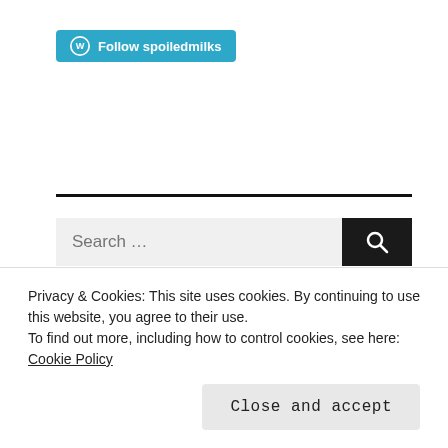[Figure (other): WordPress Follow button with 'Follow spoiledmilks' text on teal/blue background]
[Figure (other): Search bar with light gray input field showing 'Search ...' placeholder and dark search button with magnifying glass icon]
[Figure (other): Three social media icons in circles: Facebook, Twitter, Instagram]
Privacy & Cookies: This site uses cookies. By continuing to use this website, you agree to their use.
To find out more, including how to control cookies, see here: Cookie Policy
Close and accept